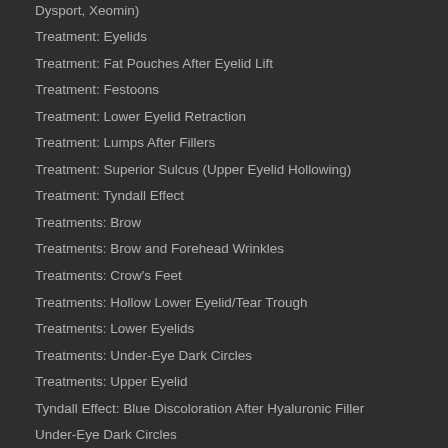Dysport, Xeomin)
Treatment: Eyelids
Treatment: Fat Pouches After Eyelid Lift
Treatment: Festoons
Treatment: Lower Eyelid Retraction
Treatment: Lumps After Fillers
Treatment: Superior Sulcus (Upper Eyelid Hollowing)
Treatment: Tyndall Effect
Treatments: Brow
Treatments: Brow and Forehead Wrinkles
Treatments: Crow's Feet
Treatments: Hollow Lower Eyelid/Tear Trough
Treatments: Lower Eyelids
Treatments: Under-Eye Dark Circles
Treatments: Upper Eyelid
Tyndall Effect: Blue Discoloration After Hyaluronic Filler
Under-Eye Dark Circles